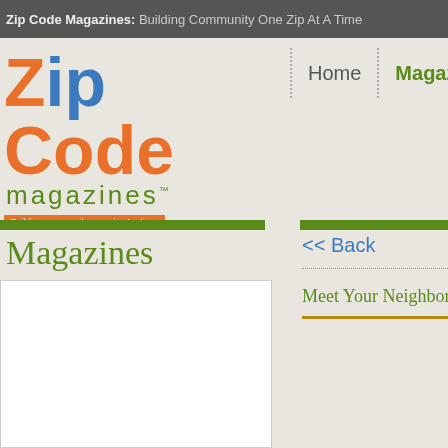Zip Code Magazines: Building Community One Zip At A Time
[Figure (logo): Zip Code Magazines logo with orange and blue text, green 'magazines' word, orange tagline bar]
Home
Magazines
Coupo
Magazines
<< Back
Meet Your Neighbor: ERIC M
[Figure (photo): White image placeholder box]